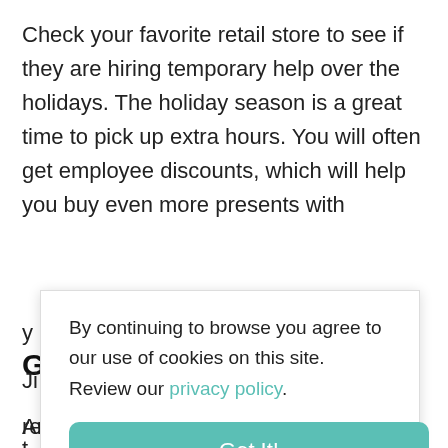Check your favorite retail store to see if they are hiring temporary help over the holidays. The holiday season is a great time to pick up extra hours. You will often get employee discounts, which will help you buy even more presents with
By continuing to browse you agree to our use of cookies on this site. Review our privacy policy.
Got It!
Get Crafty
Are you artistic or crafty? Spend some time